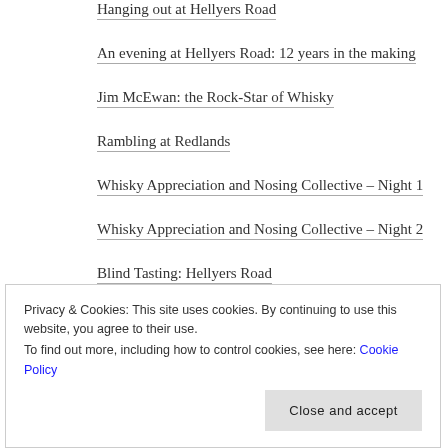Hanging out at Hellyers Road
An evening at Hellyers Road: 12 years in the making
Jim McEwan: the Rock-Star of Whisky
Rambling at Redlands
Whisky Appreciation and Nosing Collective – Night 1
Whisky Appreciation and Nosing Collective – Night 2
Blind Tasting: Hellyers Road
Blind tasting: Johnnies Night
Whisky Business: Whisky and Chocolate
Whisky Business: Night One
Privacy & Cookies: This site uses cookies. By continuing to use this website, you agree to their use.
To find out more, including how to control cookies, see here: Cookie Policy
Close and accept